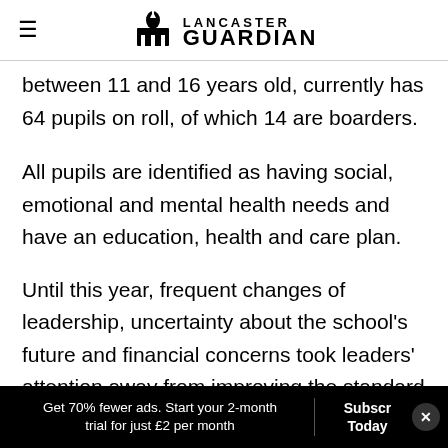LANCASTER GUARDIAN
between 11 and 16 years old, currently has 64 pupils on roll, of which 14 are boarders.
All pupils are identified as having social, emotional and mental health needs and have an education, health and care plan.
Until this year, frequent changes of leadership, uncertainty about the school’s future and financial concerns took leaders’ attention away from improving the standard of education, an
Get 70% fewer ads. Start your 2-month trial for just £2 per month